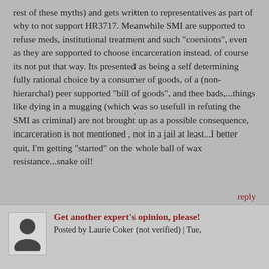rest of these myths) and gets written to representatives as part of why to not support HR3717. Meanwhile SMI are supported to refuse meds, institutional treatment and such "coersions", even as they are supported to choose incarceration instead. of course its not put that way. Its presented as being a self determining fully rational choice by a consumer of goods, of a (non-hierarchal) peer supported "bill of goods", and thee bads,...things like dying in a mugging (which was so usefull in refuting the SMI as criminal) are not brought up as a possible consequence, incarceration is not mentioned , not in a jail at least...I better quit, I'm getting "started" on the whole ball of wax resistance...snake oil!
reply
[Figure (illustration): Silhouette avatar of a person (head and shoulders) in dark gray on light gray background]
Get another expert's opinion, please!
Posted by Laurie Coker (not verified) | Tue,